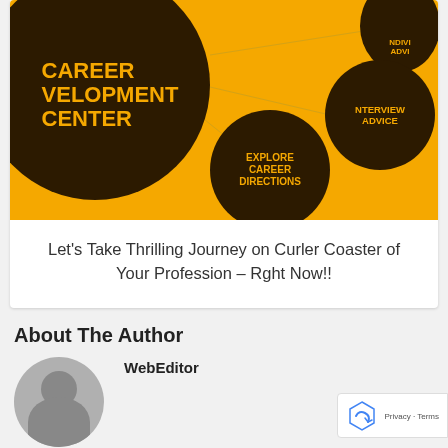[Figure (infographic): Career Development Center infographic with yellow background and dark circles containing text: CAREER DEVELOPMENT CENTER (large circle left), EXPLORE CAREER DIRECTIONS (middle circle), INTERVIEW ADVICE (right circle), INDIVI ADVI (top-right partial circle). Connector lines link the circles.]
Let's Take Thrilling Journey on Curler Coaster of Your Profession – Rght Now!!
About The Author
WebEditor
[Figure (illustration): Default user avatar — grey circle with silhouette of a person (head and shoulders).]